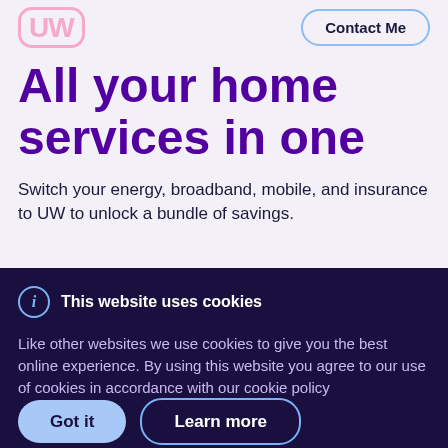[Figure (logo): UW logo in pink/light purple outlined rounded rectangle lettering]
Contact Me
All your home services in one
Switch your energy, broadband, mobile, and insurance to UW to unlock a bundle of savings.
This website uses cookies
Like other websites we use cookies to give you the best online experience. By using this website you agree to our use of cookies in accordance with our cookie policy
Got it
Learn more